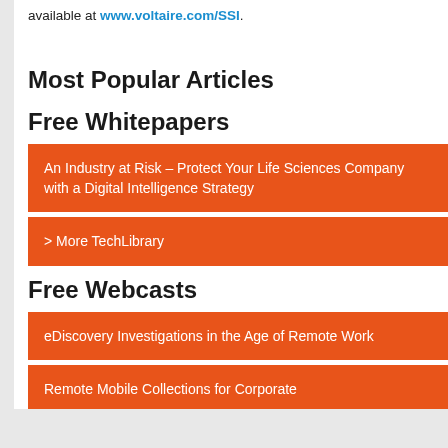available at www.voltaire.com/SSI.
Most Popular Articles
Free Whitepapers
An Industry at Risk – Protect Your Life Sciences Company with a Digital Intelligence Strategy
> More TechLibrary
Free Webcasts
eDiscovery Investigations in the Age of Remote Work
Remote Mobile Collections for Corporate